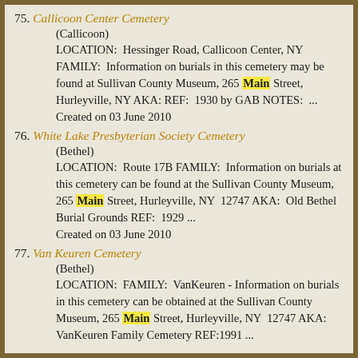75. Callicoon Center Cemetery
(Callicoon)
LOCATION: Hessinger Road, Callicoon Center, NY FAMILY: Information on burials in this cemetery may be found at Sullivan County Museum, 265 Main Street, Hurleyville, NY AKA: REF: 1930 by GAB NOTES: ...
Created on 03 June 2010
76. White Lake Presbyterian Society Cemetery
(Bethel)
LOCATION: Route 17B FAMILY: Information on burials at this cemetery can be found at the Sullivan County Museum, 265 Main Street, Hurleyville, NY 12747 AKA: Old Bethel Burial Grounds REF: 1929 ...
Created on 03 June 2010
77. Van Keuren Cemetery
(Bethel)
LOCATION: FAMILY: VanKeuren - Information on burials in this cemetery can be obtained at the Sullivan County Museum, 265 Main Street, Hurleyville, NY 12747 AKA: VanKeuren Family Cemetery REF:1991 ...